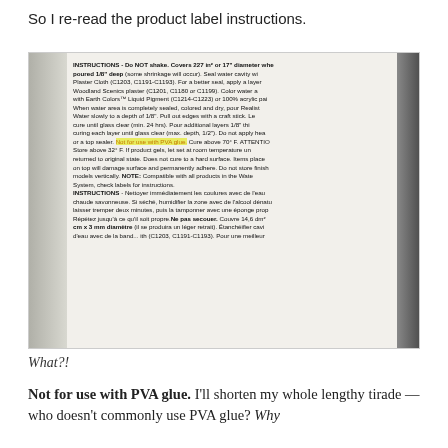So I re-read the product label instructions.
[Figure (photo): Photo of the back of a product bottle showing instructions label. The label includes English and French instructions for use. Key text highlighted in yellow: 'Not for use with PVA glue.' The label is on a white cylindrical container being held by a hand.]
What?!
Not for use with PVA glue. I'll shorten my whole lengthy tirade — who doesn't commonly use PVA glue? Why